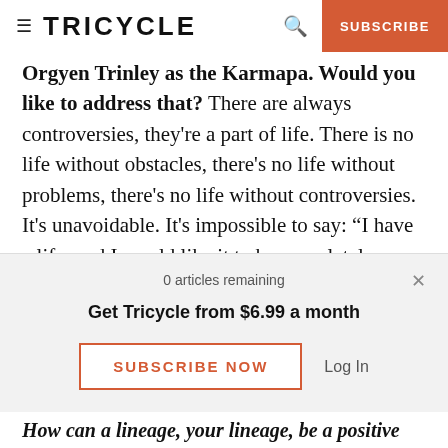TRICYCLE | SUBSCRIBE
Orgyen Trinley as the Karmapa. Would you like to address that? There are always controversies, they're a part of life. There is no life without obstacles, there's no life without problems, there's no life without controversies. It's unavoidable. It's impossible to say: “I have a life, and I would like it to be completely peaceful.”
As practitioners, as Buddhists, we try to use
0 articles remaining
Get Tricycle from $6.99 a month
SUBSCRIBE NOW
Log In
How can a lineage, your lineage, be a positive